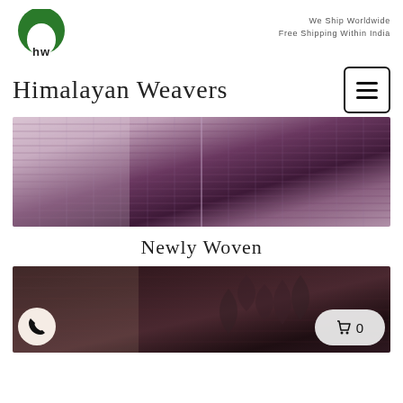hw logo | We Ship Worldwide
Free Shipping Within India
Himalayan Weavers
[Figure (photo): Close-up of purple/mauve woven textile fabric]
Newly Woven
[Figure (photo): Dark brown/black woven textile with floral/leaf pattern, with phone button and cart button overlaid]